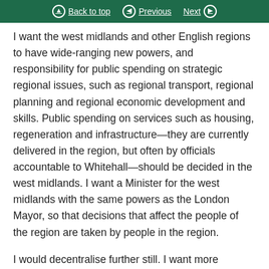Back to top | Previous | Next
I want the west midlands and other English regions to have wide-ranging new powers, and responsibility for public spending on strategic regional issues, such as regional transport, regional planning and regional economic development and skills. Public spending on services such as housing, regeneration and infrastructure—they are currently delivered in the region, but often by officials accountable to Whitehall—should be decided in the west midlands. I want a Minister for the west midlands with the same powers as the London Mayor, so that decisions that affect the people of the region are taken by people in the region.
I would decentralise further still. I want more services devolved to regional cities, towns and